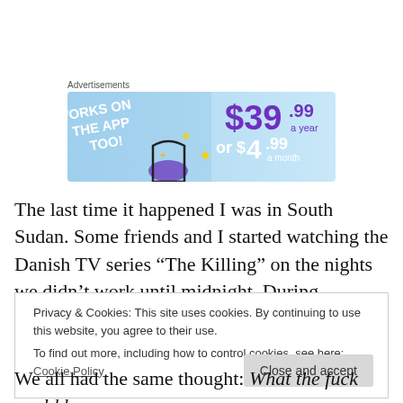[Figure (infographic): Advertisement banner showing 'WORKS ON THE APP TOO!' text on left with blue/purple background, and pricing '$39.99 a year or $4.99 a month' in purple text on right]
The last time it happened I was in South Sudan. Some friends and I started watching the Danish TV series “The Killing” on the nights we didn’t work until midnight. During
Privacy & Cookies: This site uses cookies. By continuing to use this website, you agree to their use.
To find out more, including how to control cookies, see here: Cookie Policy
We all had the same thought: What the fuck could be so